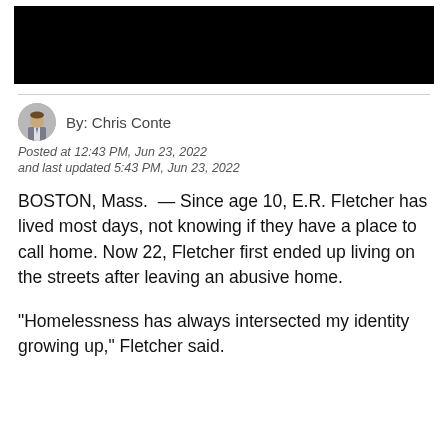[Figure (photo): Black rectangle at top of page, likely a redacted or loading image]
By: Chris Conte
Posted at 12:43 PM, Jun 23, 2022
and last updated 5:43 PM, Jun 23, 2022
BOSTON, Mass.  — Since age 10, E.R. Fletcher has lived most days, not knowing if they have a place to call home. Now 22, Fletcher first ended up living on the streets after leaving an abusive home.
"Homelessness has always intersected my identity growing up," Fletcher said.